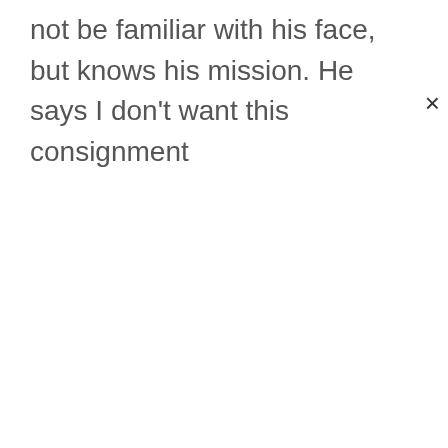not be familiar with his face, but knows his mission. He says I don't want this consignment
[Figure (other): Close/dismiss button (×) in upper right corner of a modal or overlay]